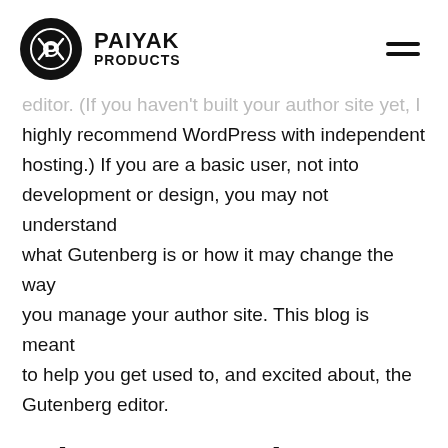PAIYAK PRODUCTS
editor. (If you haven't built your author site yet, I highly recommend WordPress with independent hosting.) If you are a basic user, not into development or design, you may not understand what Gutenberg is or how it may change the way you manage your author site. This blog is meant to help you get used to, and excited about, the Gutenberg editor.
What Is Gutenberg?
Obviously Gutenberg is the name of the dude